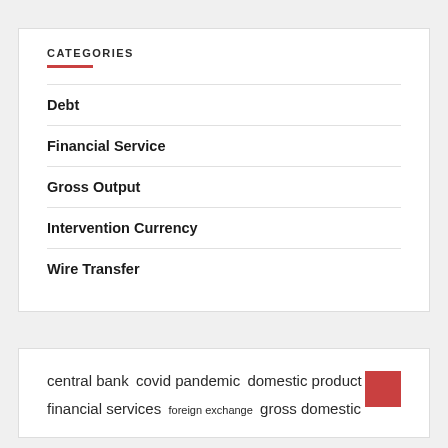CATEGORIES
Debt
Financial Service
Gross Output
Intervention Currency
Wire Transfer
central bank  covid pandemic  domestic product  financial services  foreign exchange  gross domestic